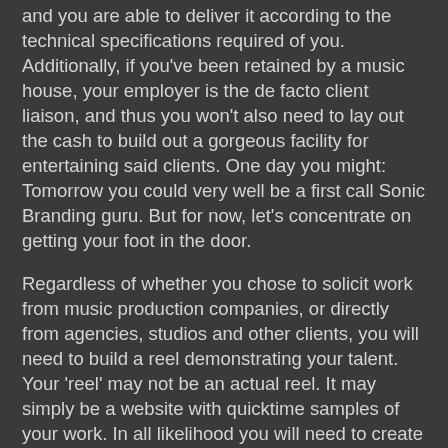and you are able to deliver it according to the technical specifications required of you. Additionally, if you've been retained by a music house, your employer is the de facto client liaison, and thus you won't also need to lay out the cash to build out a gorgeous facility for entertaining said clients. One day you might: Tomorrow you could very well be a first call Sonic Branding guru. But for now, let's concentrate on getting your foot in the door.
Regardless of whether you chose to solicit work from music production companies, or directly from agencies, studios and other clients, you will need to build a reel demonstrating your talent. Your 'reel' may not be an actual reel. It may simply be a website with quicktime samples of your work. In all likelihood you will need to create hard copies for distribution as well, in the form of a DVD.
Some question whether it is ethical to build a demo reel by scoring existing TV film, adverts or video footage. I say: Do it, do it, do it. Get on the Internet and find ten to fifteen beautiful or über cool TV commercials to download and score them, and/or add sound design. If you can't mix, have